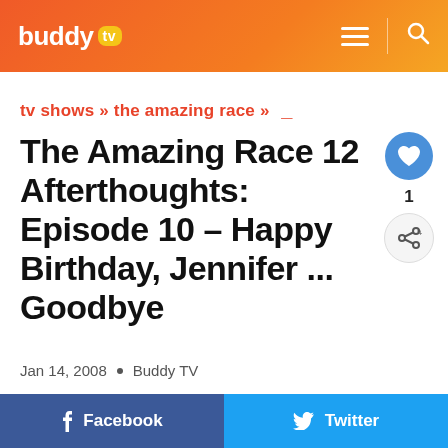buddy tv — navigation header
tv shows » the amazing race »
The Amazing Race 12 Afterthoughts: Episode 10 – Happy Birthday, Jennifer ... Goodbye
Jan 14, 2008  •  Buddy TV
Facebook  Twitter